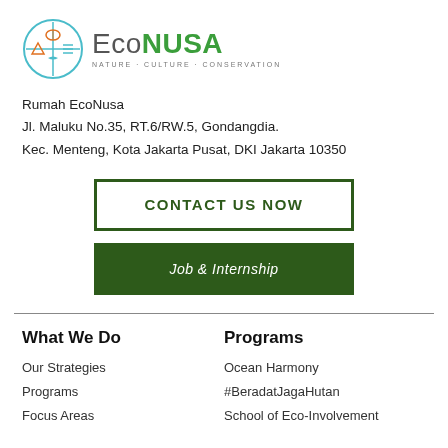[Figure (logo): EcoNusa logo with circular icon (nature/culture/conservation symbols) and text 'EcoNUSA NATURE · CULTURE · CONSERVATION']
Rumah EcoNusa
Jl. Maluku No.35, RT.6/RW.5, Gondangdia.
Kec. Menteng, Kota Jakarta Pusat, DKI Jakarta 10350
CONTACT US NOW
Job & Internship
What We Do
Programs
Our Strategies
Programs
Focus Areas
Ocean Harmony
#BeradatJagaHutan
School of Eco-Involvement